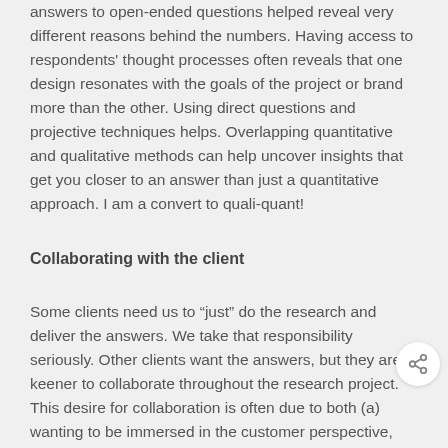answers to open-ended questions helped reveal very different reasons behind the numbers. Having access to respondents' thought processes often reveals that one design resonates with the goals of the project or brand more than the other. Using direct questions and projective techniques helps. Overlapping quantitative and qualitative methods can help uncover insights that get you closer to an answer than just a quantitative approach. I am a convert to quali-quant!
Collaborating with the client
Some clients need us to “just” do the research and deliver the answers. We take that responsibility seriously. Other clients want the answers, but they are keener to collaborate throughout the research project. This desire for collaboration is often due to both (a) wanting to be immersed in the customer perspective, and (b) knowing that conversations with the research